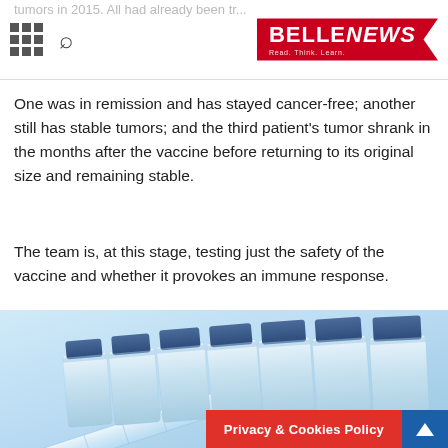BELLE NEWS — Read. Think. Learn.
One was in remission and has stayed cancer-free; another still has stable tumors; and the third patient's tumor shrank in the months after the vaccine before returning to its original size and remaining stable.
The team is, at this stage, testing just the safety of the vaccine and whether it provokes an immune response.
[Figure (photo): A row of medical vaccine vials with blue caps arranged diagonally, with a syringe in the foreground, on a light blue background.]
Privacy & Cookies Policy